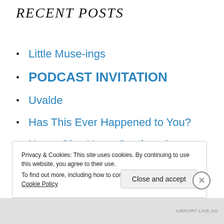RECENT POSTS
Little Muse-ings
PODCAST INVITATION
Uvalde
Has This Ever Happened to You?
Never Give Up — Continued
Privacy & Cookies: This site uses cookies. By continuing to use this website, you agree to their use.
To find out more, including how to control cookies, see here: Cookie Policy
Close and accept